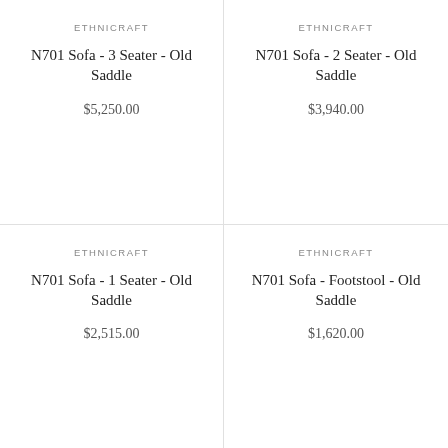ETHNICRAFT
N701 Sofa - 3 Seater - Old Saddle
$5,250.00
ETHNICRAFT
N701 Sofa - 2 Seater - Old Saddle
$3,940.00
ETHNICRAFT
N701 Sofa - 1 Seater - Old Saddle
$2,515.00
ETHNICRAFT
N701 Sofa - Footstool - Old Saddle
$1,620.00